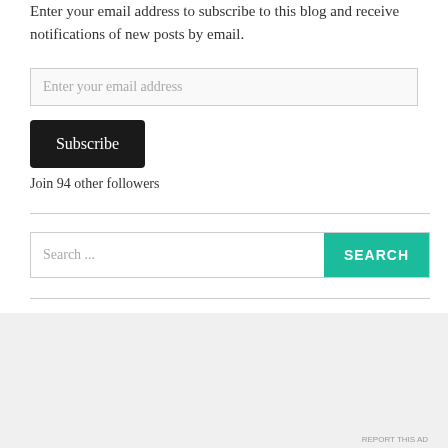Enter your email address to subscribe to this blog and receive notifications of new posts by email.
Enter your email address
Subscribe
Join 94 other followers
Search ...
SEARCH
Advertisements
[Figure (screenshot): DuckDuckGo advertisement banner: orange section with text 'Search, browse, and email with more privacy. All in One Free App', dark section with DuckDuckGo duck logo and brand name.]